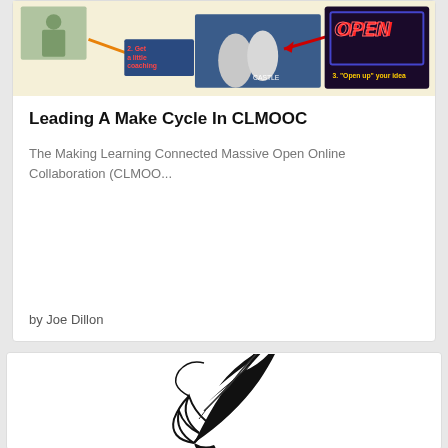[Figure (illustration): Infographic image with baseball coaching photo, OPEN neon sign, and instructional arrows on a yellow background — illustration for the CLMOOC make cycle article]
Leading A Make Cycle In CLMOOC
The Making Learning Connected Massive Open Online Collaboration (CLMOO...
by Joe Dillon
[Figure (illustration): Black and white decorative feather quill pen illustration]